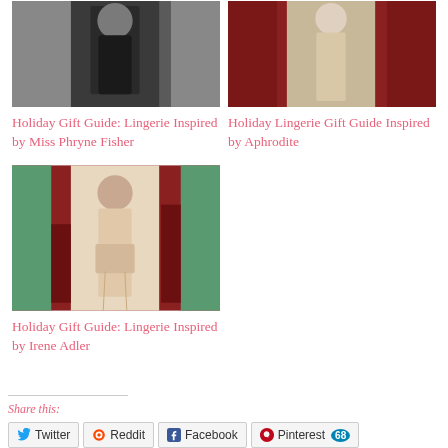[Figure (photo): Photo of a person in black lingerie/gown]
Holiday Gift Guide: Lingerie Inspired by Miss Phryne Fisher
[Figure (photo): Photo of a person in white/silver lingerie against red curtains]
Holiday Lingerie Gift Guide Inspired by Aphrodite
[Figure (photo): Photo of a woman in pale/cream lingerie with garter belt in an ornate room]
Holiday Gift Guide: Lingerie Inspired by Irene Adler
Share this:
Twitter  Reddit  Facebook  Pinterest 68